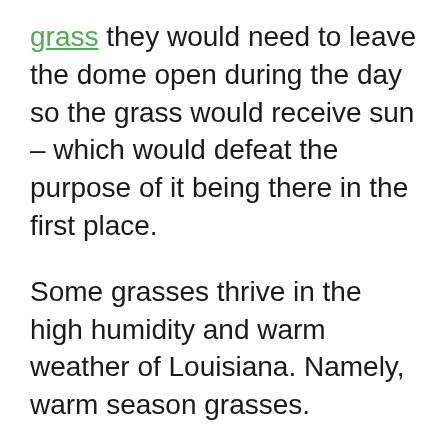grass they would need to leave the dome open during the day so the grass would receive sun – which would defeat the purpose of it being there in the first place.
Some grasses thrive in the high humidity and warm weather of Louisiana. Namely, warm season grasses.
Is your lawn thriving?
If not, be sure to give one of the below lawn care companies a call. We researched